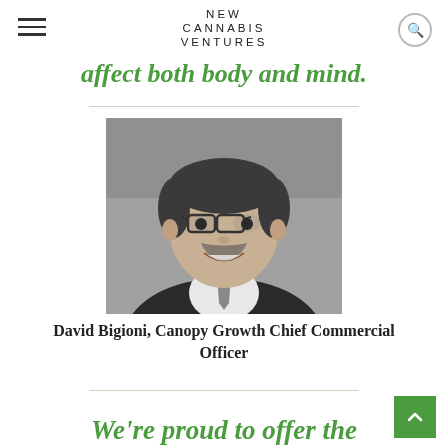NEW CANNABIS VENTURES
affect both body and mind.
[Figure (photo): Black and white professional headshot of David Bigioni, a man wearing glasses, a dark suit, and a patterned tie, smiling at the camera]
David Bigioni, Canopy Growth Chief Commercial Officer
We're proud to offer the